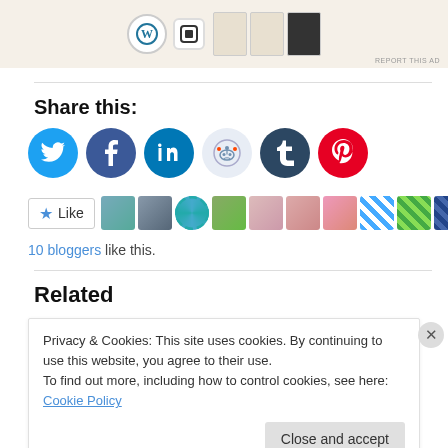[Figure (illustration): Advertisement banner at top of page showing WordPress and Square logos with mockup pages]
Share this:
[Figure (infographic): Row of social media share buttons: Twitter (blue), Facebook (dark blue), LinkedIn (blue), Reddit (light blue), Tumblr (dark navy), Pinterest (red)]
[Figure (infographic): Like button with star icon followed by a strip of 10 blogger avatar thumbnails]
10 bloggers like this.
Related
Privacy & Cookies: This site uses cookies. By continuing to use this website, you agree to their use.
To find out more, including how to control cookies, see here: Cookie Policy
Close and accept